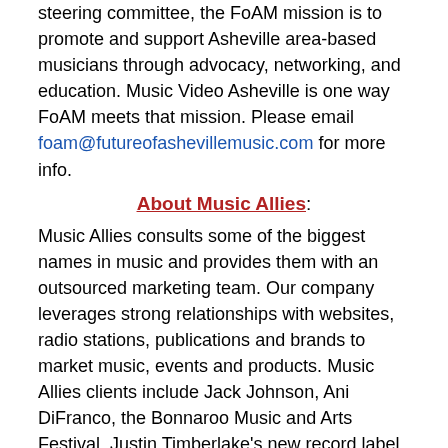steering committee, the FoAM mission is to promote and support Asheville area-based musicians through advocacy, networking, and education. Music Video Asheville is one way FoAM meets that mission. Please email foam@futureofashevillemusic.com for more info.
About Music Allies:
Music Allies consults some of the biggest names in music and provides them with an outsourced marketing team. Our company leverages strong relationships with websites, radio stations, publications and brands to market music, events and products. Music Allies clients include Jack Johnson, Ani DiFranco, the Bonnaroo Music and Arts Festival, Justin Timberlake's new record label Tennman Records, Outside Lands Festival, the Concerts for the Coasts, G Love, the Hangout Music Festival, Camp Bisco, Moogfest, Aimee Mann, Joanne Osborne and many many